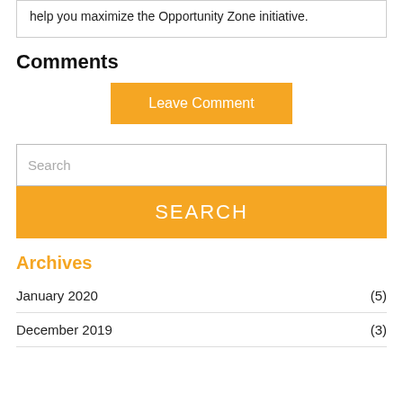help you maximize the Opportunity Zone initiative.
Comments
Leave Comment
Search
SEARCH
Archives
January 2020 (5)
December 2019 (3)